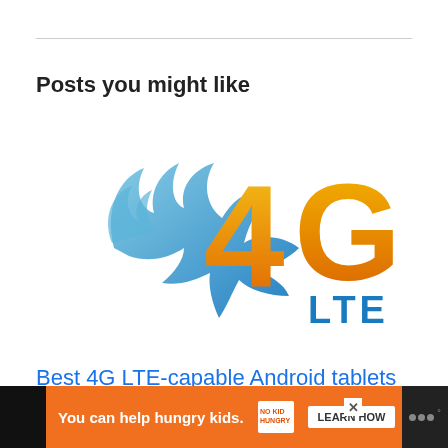Posts you might like
[Figure (logo): 4G LTE logo with blue flame and orange '4G' text with blue 'LTE' below]
Best 4G LTE-capable Android tablets available Today Stateside
You can help hungry kids. NO KID HUNGRY LEARN HOW [advertisement banner]